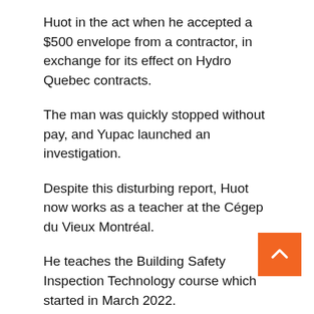Huot in the act when he accepted a $500 envelope from a contractor, in exchange for its effect on Hydro Quebec contracts.
The man was quickly stopped without pay, and Yupac launched an investigation.
Despite this disturbing report, Huot now works as a teacher at the Cégep du Vieux Montréal.
He teaches the Building Safety Inspection Technology course which started in March 2022.
Under the guise of anonymity, some students called TVA Nouvelles to testify about their unease after seeing their teacher in an investigative office repo
“We are aware of the file and are currently taking all necessary steps,” says Anne-Louise Savary, Director